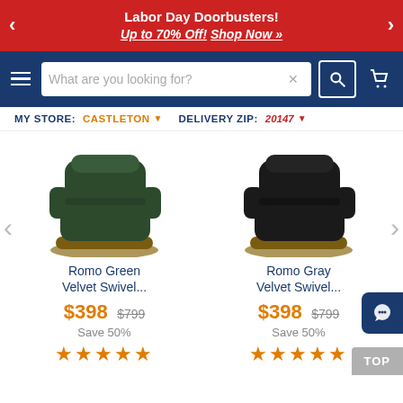Labor Day Doorbusters! Up to 70% Off! Shop Now »
[Figure (screenshot): Navigation bar with hamburger menu, search box, search button, and cart icon on dark blue background]
MY STORE: CASTLETON ▼   DELIVERY ZIP: 20147 ▼
[Figure (photo): Romo Green Velvet Swivel Chair - dark green velvet chair with wood base]
[Figure (photo): Romo Gray Velvet Swivel Chair - dark gray/black velvet chair with wood base]
Romo Green Velvet Swivel...
Romo Gray Velvet Swivel...
$398 $799
Save 50%
★★★★★
$398 $799
Save 50%
★★★★★